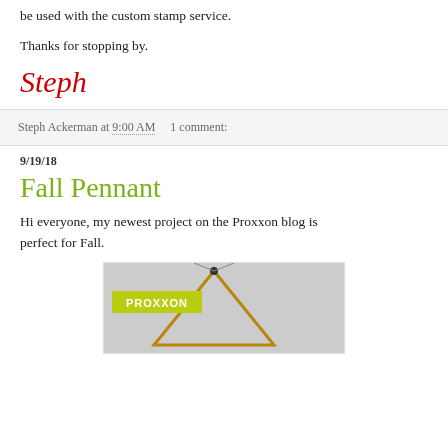be used with the custom stamp service.
Thanks for stopping by.
Steph
Steph Ackerman at 9:00 AM    1 comment:
9/19/18
Fall Pennant
Hi everyone, my newest project on the Proxxon blog is perfect for Fall.
[Figure (photo): Photo showing a Proxxon branded image with a yellow-green Proxxon logo label and a triangular wooden pennant structure against a light background.]